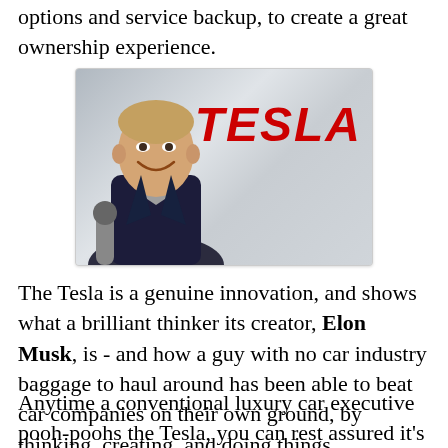options and service backup, to create a great ownership experience.
[Figure (photo): Elon Musk smiling and holding a microphone in front of a white background with the red Tesla logo/wordmark visible behind him.]
The Tesla is a genuine innovation, and shows what a brilliant thinker its creator, Elon Musk, is - and how a guy with no car industry baggage to haul around has been able to beat car companies on their own ground, by thinking, creating, and doing things differently.
Anytime a conventional luxury car executive pooh-poohs the Tesla, you can rest assured it's just jealousy talking. Yes, the pricetag reserves Tesla